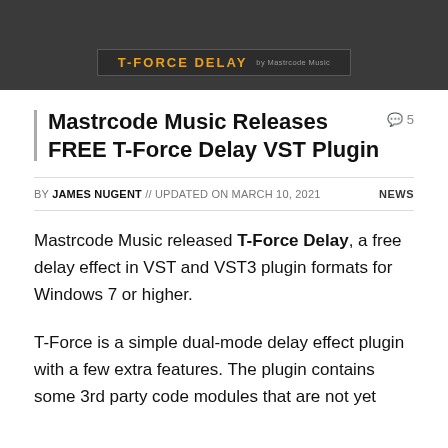[Figure (screenshot): Dark banner with T-Force Delay plugin logo/header in orange text on a dark background]
Mastrcode Music Releases FREE T-Force Delay VST Plugin
BY JAMES NUGENT // UPDATED ON MARCH 10, 2021   NEWS
Mastrcode Music released T-Force Delay, a free delay effect in VST and VST3 plugin formats for Windows 7 or higher.
T-Force is a simple dual-mode delay effect plugin with a few extra features. The plugin contains some 3rd party code modules that are not yet